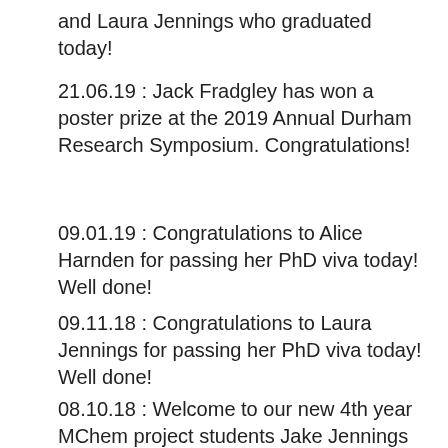and Laura Jennings who graduated today!
21.06.19 : Jack Fradgley has won a poster prize at the 2019 Annual Durham Research Symposium. Congratulations!
09.01.19 : Congratulations to Alice Harnden for passing her PhD viva today! Well done!
09.11.18 : Congratulations to Laura Jennings for passing her PhD viva today! Well done!
08.10.18 : Welcome to our new 4th year MChem project students Jake Jennings and Alice Wilson.